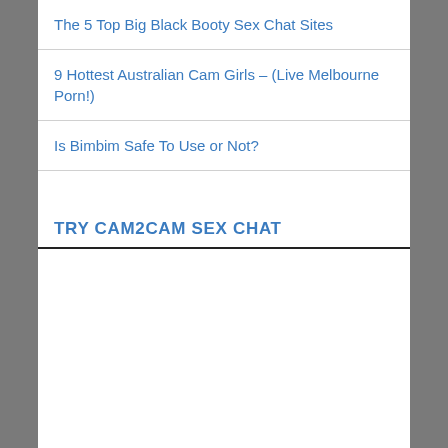The 5 Top Big Black Booty Sex Chat Sites
9 Hottest Australian Cam Girls – (Live Melbourne Porn!)
Is Bimbim Safe To Use or Not?
TRY CAM2CAM SEX CHAT